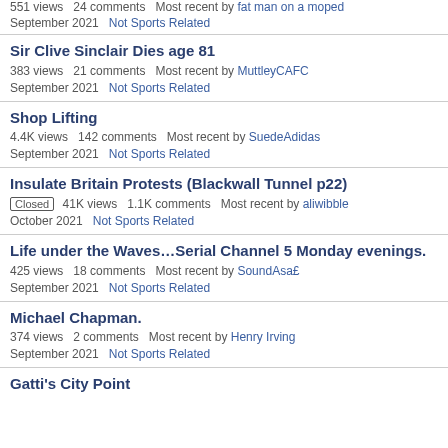551 views  24 comments  Most recent by fat man on a moped
September 2021  Not Sports Related
Sir Clive Sinclair Dies age 81
383 views  21 comments  Most recent by MuttleyCAFC
September 2021  Not Sports Related
Shop Lifting
4.4K views  142 comments  Most recent by SuedeAdidas
September 2021  Not Sports Related
Insulate Britain Protests (Blackwall Tunnel p22)
Closed  41K views  1.1K comments  Most recent by aliwibble
October 2021  Not Sports Related
Life under the Waves…Serial Channel 5 Monday evenings.
425 views  18 comments  Most recent by SoundAsa£
September 2021  Not Sports Related
Michael Chapman.
374 views  2 comments  Most recent by Henry Irving
September 2021  Not Sports Related
Gatti's City Point